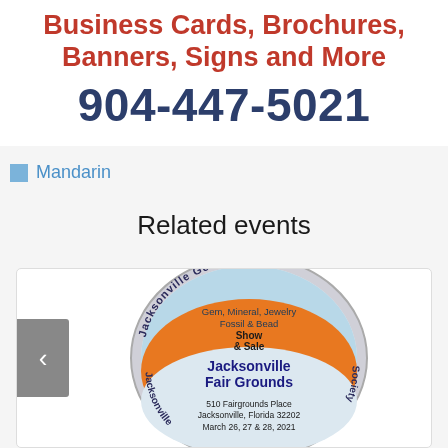[Figure (infographic): Advertisement banner showing 'Business Cards, Brochures, Banners, Signs and More' in red text and phone number '904-447-5021' in large dark blue bold text on white background]
Mandarin
Related events
[Figure (logo): Jacksonville Gem & Mineral Society oval logo showing text 'Gem, Mineral, Jewelry Fossil & Bead Show & Sale', 'Jacksonville Fair Grounds', '510 Fairgrounds Place Jacksonville, Florida 32202', 'March 26, 27 & 28, 2021']